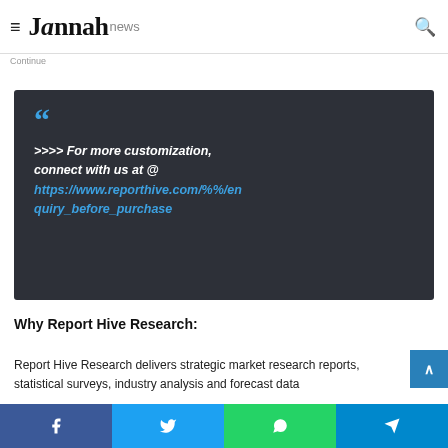Jannah news
Continue
[Figure (other): Dark quote block with large blue quotation marks and italic bold white text: >>>> For more customization, connect with us at @ https://www.reporthive.com/%%/enquiry_before_purchase]
Why Report Hive Research:
Report Hive Research delivers strategic market research reports, statistical surveys, industry analysis and forecast data